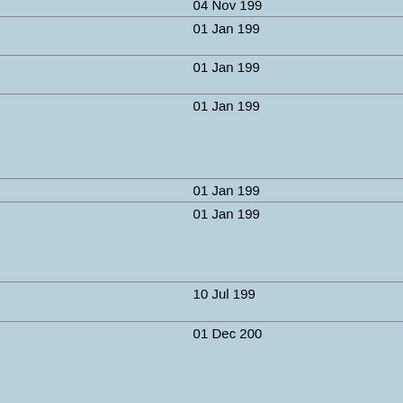| Satellite | Date |
| --- | --- |
| Resurs-01 N3 [L] | 04 Nov 199… |
| Resurs-F1M series [L] | 01 Jan 199… |
| Resurs-F2M series [L] | 01 Jan 199… |
| PRIRODA [L] | 01 Jan 199… |
| Resurs-02 [L] | 01 Jan 199… |
| ALMAZ-1B [L] | 01 Jan 199… |
| Resurs-01 N4 [L] | 10 Jul 199… |
| Meteor-3M [C] | 01 Dec 200… |
| Vulkan-Kompas-2 [L] | 01 Jan 200… |
| Monitor-E [L] | 26 Aug 200… |
| Baumanets [L] | 05 Dec 200… |
| BelKA [L] | 01 Jan 200… |
| Resurs DK 1 [L] | 15 Jun 200… |